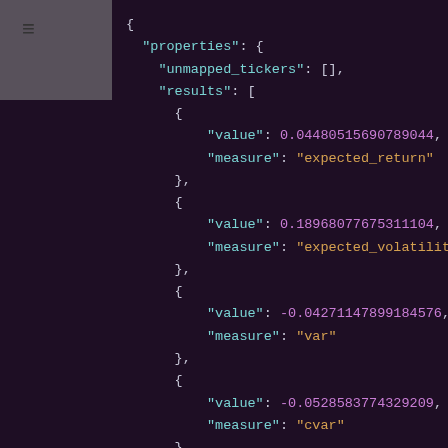[Figure (screenshot): JSON code block showing financial portfolio analysis API response with properties including unmapped_tickers, and results array containing objects with value and measure fields for expected_return (0.04480515690789044), expected_volatility (0.18968077675311104), var (-0.04271147899184576), cvar (-0.0528583774329209), and a fifth entry with value 1.0]